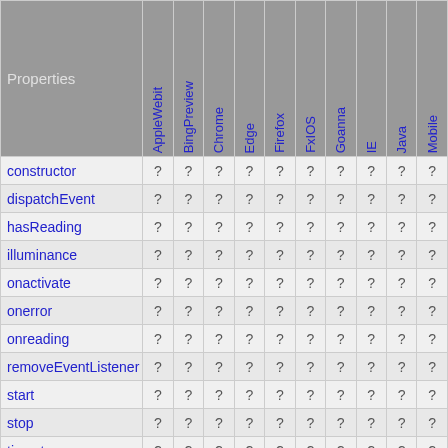| Properties | AppleWebit | BingPreview | Chrome | Edge | Firefox | FxIOS | Goanna | IE | Java | Mobile |
| --- | --- | --- | --- | --- | --- | --- | --- | --- | --- | --- |
| constructor | ? | ? | ? | ? | ? | ? | ? | ? | ? | ? |
| dispatchEvent | ? | ? | ? | ? | ? | ? | ? | ? | ? | ? |
| hasReading | ? | ? | ? | ? | ? | ? | ? | ? | ? | ? |
| illuminance | ? | ? | ? | ? | ? | ? | ? | ? | ? | ? |
| onactivate | ? | ? | ? | ? | ? | ? | ? | ? | ? | ? |
| onerror | ? | ? | ? | ? | ? | ? | ? | ? | ? | ? |
| onreading | ? | ? | ? | ? | ? | ? | ? | ? | ? | ? |
| removeEventListener | ? | ? | ? | ? | ? | ? | ? | ? | ? | ? |
| start | ? | ? | ? | ? | ? | ? | ? | ? | ? | ? |
| stop | ? | ? | ? | ? | ? | ? | ? | ? | ? | ? |
| timestamp | ? | ? | ? | ? | ? | ? | ? | ? | ? | ? |